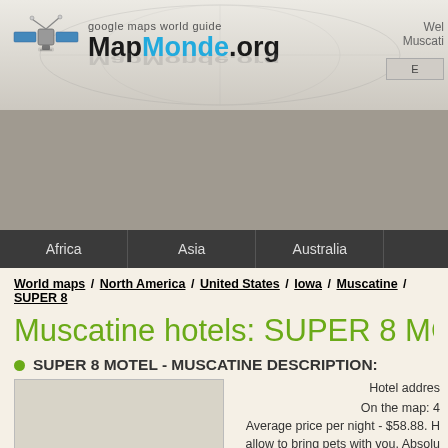[Figure (logo): MapMonde.org logo with satellite icon and text 'google maps world guide MapMonde.org']
[Figure (other): Gray advertisement banner]
Africa / Asia / Australia
World maps / North America / United States / Iowa / Muscatine / SUPER 8
Muscatine hotels: SUPER 8 MOTEL - M
SUPER 8 MOTEL - MUSCATINE DESCRIPTION:
Hotel addres
On the map: 4
Average price per night - $58.88. H
allow to bring pets with you. Absolu